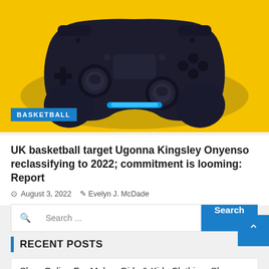[Figure (photo): A dark blue PlayStation DualShock controller photographed against a bright yellow background, viewed from above at slight angle showing all buttons and thumbsticks.]
BASKETBALL
UK basketball target Ugonna Kingsley Onyenso reclassifying to 2022; commitment is looming: Report
August 3, 2022   Evelyn J. McDade
Search ...
RECENT POSTS
Shop Online For Males, Girls & Kids Clothing, Shoes,